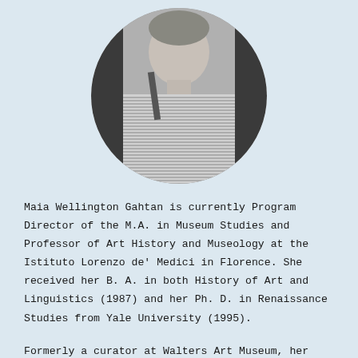[Figure (photo): Black and white circular portrait photo of a person wearing a striped top]
Maia Wellington Gahtan is currently Program Director of the M.A. in Museum Studies and Professor of Art History and Museology at the Istituto Lorenzo de' Medici in Florence. She received her B. A. in both History of Art and Linguistics (1987) and her Ph. D. in Renaissance Studies from Yale University (1995).
Formerly a curator at Walters Art Museum, her